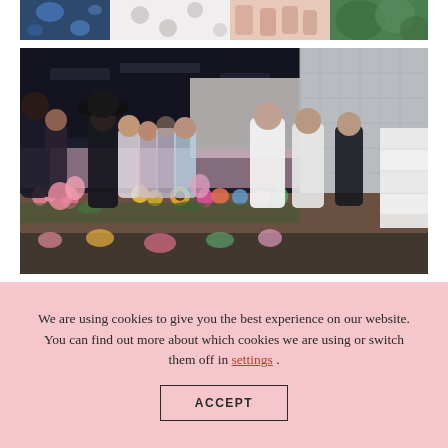[Figure (photo): Partial cropped photo at top showing fashion/clothing items — floral dress on left, white garment with circles in center, hands with flowers on right, green foliage on far right.]
[Figure (photo): Indoor event photo showing a crowd of people gathered around a table covered in colorful flowers (tulips, sunflowers, roses). A man in a black wide-brim hat is prominently visible on the left. Several people in white shirts are working on the right side of the table. The setting appears to be a large industrial or event space.]
We are using cookies to give you the best experience on our website.
You can find out more about which cookies we are using or switch them off in settings .
ACCEPT